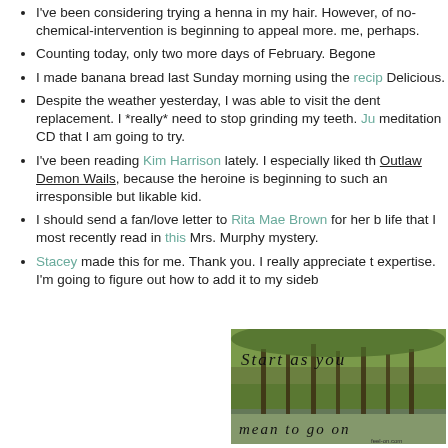I've been considering trying a henna in my hair.  However, of no-chemical-intervention is beginning to appeal more.  me, perhaps.
Counting today, only two more days of February.  Begone
I made banana bread last Sunday morning using the recip Delicious.
Despite the weather yesterday, I was able to visit the dent replacement.  I *really* need to stop grinding my teeth.  Ju meditation CD that I am going to try.
I've been reading Kim Harrison lately.  I especially liked th Outlaw Demon Wails, because the heroine is beginning to such an irresponsible but likable kid.
I should send a fan/love letter to Rita Mae Brown for her b life that I most recently read in this Mrs. Murphy mystery.
Stacey made this for me.  Thank you.  I really appreciate t expertise.  I'm going to figure out how to add it to my sideb
[Figure (photo): A green forest/nature image with text overlay reading 'Start as you mean to go on' in a serif italic font, with trees and foliage visible in the background.]